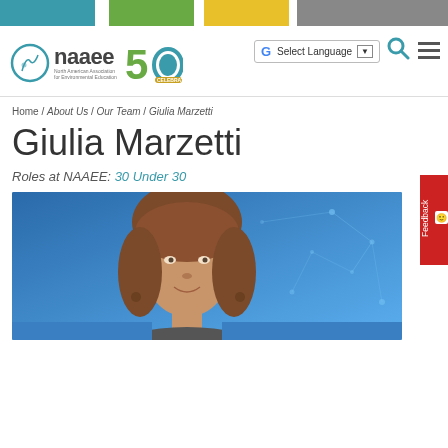[Figure (screenshot): NAAEE website header with color bar, logo, search, menu, and language selector]
Home / About Us / Our Team / Giulia Marzetti
Giulia Marzetti
Roles at NAAEE: 30 Under 30
[Figure (photo): Headshot photo of Giulia Marzetti against a blue background with network pattern]